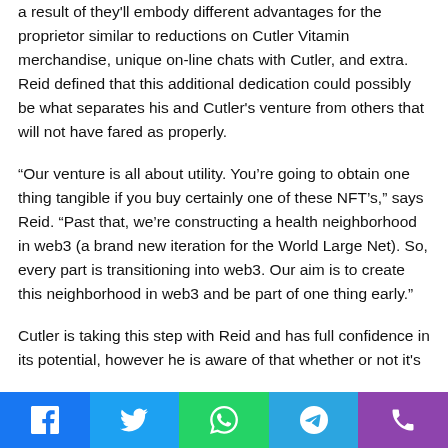a result of they'll embody different advantages for the proprietor similar to reductions on Cutler Vitamin merchandise, unique on-line chats with Cutler, and extra. Reid defined that this additional dedication could possibly be what separates his and Cutler's venture from others that will not have fared as properly.
“Our venture is all about utility. You’re going to obtain one thing tangible if you buy certainly one of these NFT’s,” says Reid. “Past that, we’re constructing a health neighborhood in web3 (a brand new iteration for the World Large Net). So, every part is transitioning into web3. Our aim is to create this neighborhood in web3 and be part of one thing early.”
Cutler is taking this step with Reid and has full confidence in its potential, however he is aware of that whether or not it’s